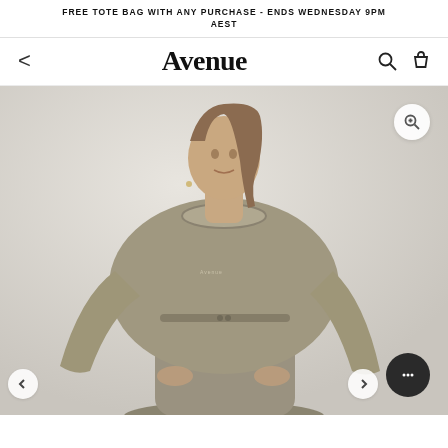FREE TOTE BAG WITH ANY PURCHASE - ENDS WEDNESDAY 9PM AEST
Avenue
[Figure (photo): A female model wearing an oversized khaki/olive-tan crew neck sweatshirt with small logo text on chest and matching wide-leg drawstring pants, posed against a light grey background, hands in pockets, looking directly at camera.]